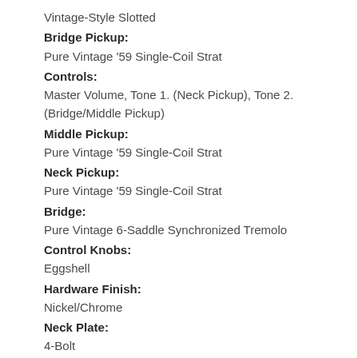Vintage-Style Slotted
Bridge Pickup: Pure Vintage '59 Single-Coil Strat
Controls: Master Volume, Tone 1. (Neck Pickup), Tone 2. (Bridge/Middle Pickup)
Middle Pickup: Pure Vintage '59 Single-Coil Strat
Neck Pickup: Pure Vintage '59 Single-Coil Strat
Bridge: Pure Vintage 6-Saddle Synchronized Tremolo
Control Knobs: Eggshell
Hardware Finish: Nickel/Chrome
Neck Plate: 4-Bolt
Pickguard: 1-Ply Eggshell